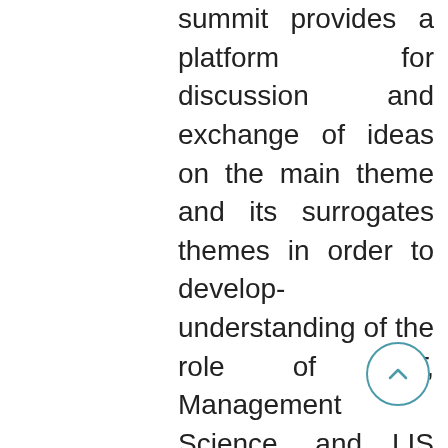Environmental Responsibility. This summit provides a platform for discussion and exchange of ideas on the main theme and its surrogates themes in order to develop- understanding of the role of ICT, Management Science, and LIS Professionals in Knowledge Innovation and Knowledge Management.Debate and develop strategies to manage information systems and libraries in the web environment.Identify and share &lsquo; Best Practices&rsquo; developed and adopted by various information systems and libraries, and Increase the expertise and provide the best possible pla… by educating students and …